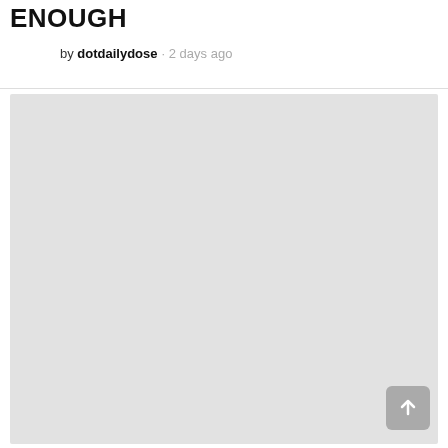ENOUGH
by dotdailydose · 2 days ago
[Figure (photo): Large light gray placeholder image area occupying the lower portion of the page]